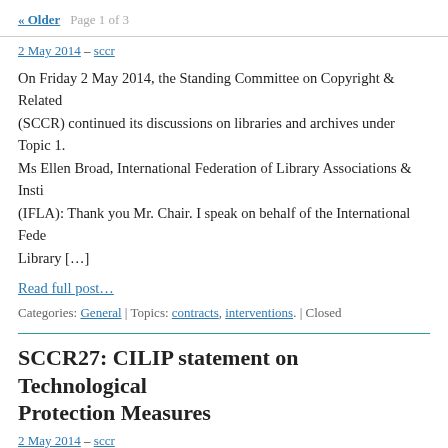« Older   Page 1 of 3
2 May 2014 – sccr
On Friday 2 May 2014, the Standing Committee on Copyright & Related (SCCR) continued its discussions on libraries and archives under Topic 1. Ms Ellen Broad, International Federation of Library Associations & Insti (IFLA): Thank you Mr. Chair. I speak on behalf of the International Fede Library […]
Read full post…
Categories: General | Topics: contracts, interventions. | Closed
SCCR27: CILIP statement on Technological Protection Measures
2 May 2014 – sccr
Ms. Barbara Stratton, speaking on behalf of CILIP: Thank you Mr Chair